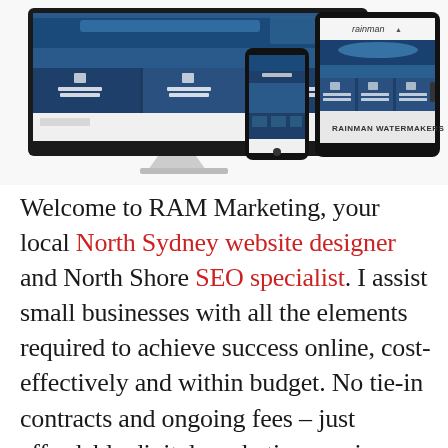[Figure (screenshot): Screenshot mockup showing the Rainman Watermakers website displayed on a desktop monitor, smartphone, and tablet device. The website shows a dark navy blue design with product categories including 'Petrol Gasoline Watermakers' and 'AC Electric Watermakers'. The tablet shows 'Rainman Watermakers' branding.]
Welcome to RAM Marketing, your local North Sydney website designer and North Shore SEO specialist. I assist small businesses with all the elements required to achieve success online, cost-effectively and within budget. No tie-in contracts and ongoing fees – just affordable digital marketing services tailored to your requirements.